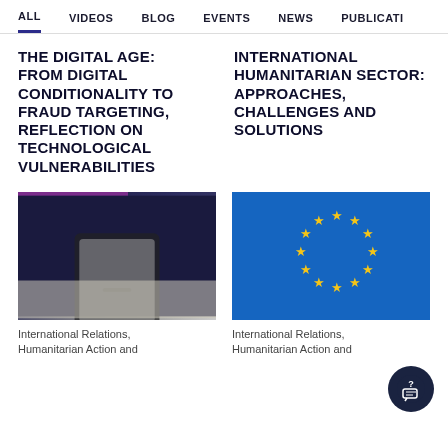ALL   VIDEOS   BLOG   EVENTS   NEWS   PUBLICATI…
THE DIGITAL AGE: FROM DIGITAL CONDITIONALITY TO FRAUD TARGETING, REFLECTION ON TECHNOLOGICAL VULNERABILITIES
INTERNATIONAL HUMANITARIAN SECTOR: APPROACHES, CHALLENGES AND SOLUTIONS
[Figure (photo): Thumbnail image with purple date badge reading '28 September 2021', showing a hand holding a smartphone over a notebook]
[Figure (photo): Thumbnail image with purple date badge reading '4 June 2021', showing EU flag with yellow stars on blue background]
International Relations, Humanitarian Action and
International Relations, Humanitarian Action and